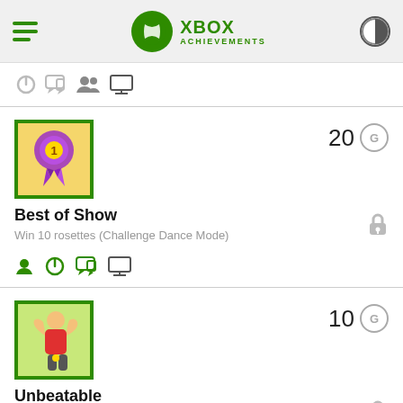XBOX ACHIEVEMENTS
[Figure (screenshot): Partial achievement row with power, chat, friends, and monitor icons]
[Figure (illustration): Achievement: Best of Show - rosette/ribbon trophy image with green border]
20 G
Best of Show
Win 10 rosettes (Challenge Dance Mode)
[Figure (illustration): Achievement: Unbeatable - muscular person flexing image with green border]
10 G
Unbeatable
Complete a game without losing or failing any challenges (Challenge Dance Mode)